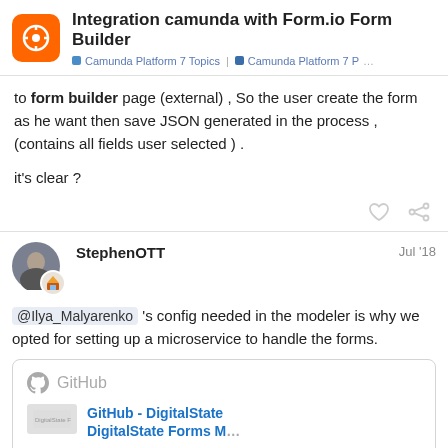Integration camunda with Form.io Form Builder — Camunda Platform 7 Topics | Camunda Platform 7 P
to form builder page (external) , So the user create the form as he want then save JSON generated in the process , (contains all fields user selected ) .
it's clear ?
StephenOTT  Jul '18
@Ilya_Malyarenko 's config needed in the modeler is why we opted for setting up a microservice to handle the forms.
[Figure (screenshot): GitHub card showing GitHub - DigitalState / DigitalState Forms M... link preview]